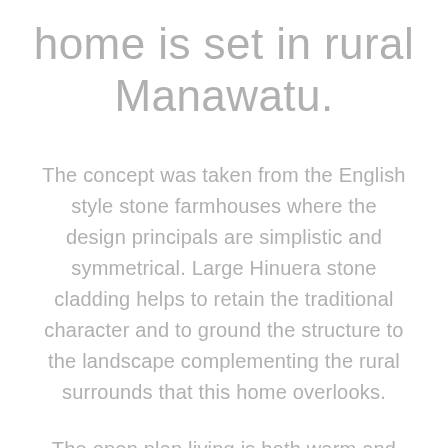home is set in rural Manawatu.
The concept was taken from the English style stone farmhouses where the design principals are simplistic and symmetrical. Large Hinuera stone cladding helps to retain the traditional character and to ground the structure to the landscape complementing the rural surrounds that this home overlooks.
The open plan living is both warm and